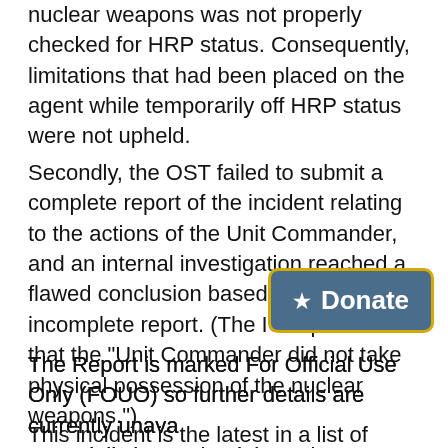nuclear weapons was not properly checked for HRP status. Consequently, limitations that had been placed on the agent while temporarily off HRP status were not upheld.
Secondly, the OST failed to submit a complete report of the incident relating to the actions of the Unit Commander, and an internal investigation reached a flawed conclusion based on the incomplete report. (The IG report notes that the "Unit Commander did not take physical possession of the nuclear weapons.")
The Report is marked For Official Use Only (FOUO) so further details are currently unavailable but could potentially be attained through a Freedom of Information Act Request.
This incident is the latest in a list of security and